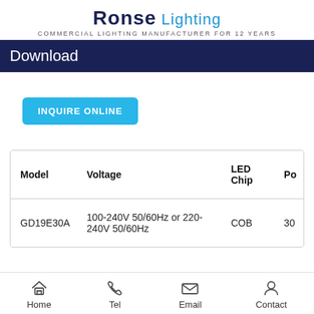Ronse Lighting — COMMERCIAL LIGHTING MANUFACTURER FOR 12 YEARS
Download
INQUIRE ONLINE
| Model | Voltage | LED Chip | Po... |
| --- | --- | --- | --- |
| GD19E30A | 100-240V 50/60Hz or 220-240V 50/60Hz | COB | 30... |
Home  Tel  Email  Contact